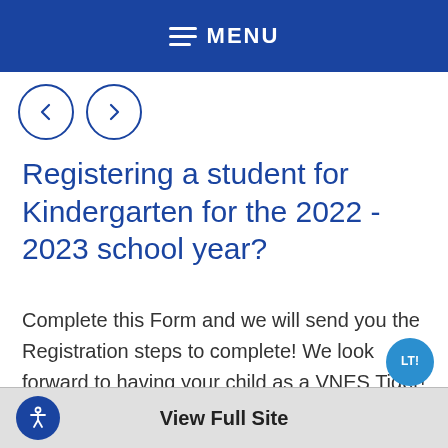MENU
[Figure (illustration): Navigation arrows: left arrow circle and right arrow circle]
Registering a student for Kindergarten for the 2022 - 2023 school year?
Complete this Form and we will send you the Registration steps to complete! We look forward to having your child as a VNES Tiger!
View Full Site